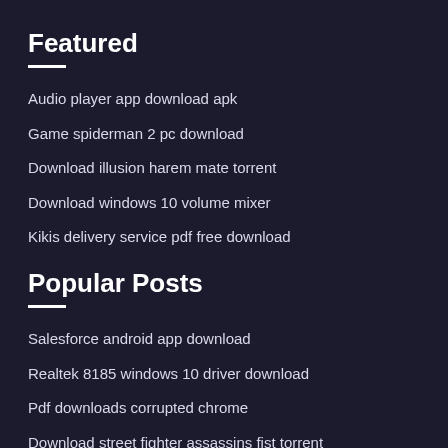Featured
Audio player app download apk
Game spiderman 2 pc download
Download illusion harem mate torrent
Download windows 10 volume mixer
Kikis delivery service pdf free download
Popular Posts
Salesforce android app download
Realtek 8185 windows 10 driver download
Pdf downloads corrupted chrome
Download street fighter assassins fist torrent
Android market update download